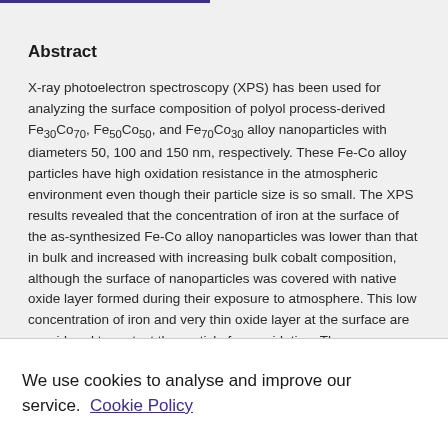Abstract
X-ray photoelectron spectroscopy (XPS) has been used for analyzing the surface composition of polyol process-derived Fe30Co70, Fe50Co50, and Fe70Co30 alloy nanoparticles with diameters 50, 100 and 150 nm, respectively. These Fe-Co alloy particles have high oxidation resistance in the atmospheric environment even though their particle size is so small. The XPS results revealed that the concentration of iron at the surface of the as-synthesized Fe-Co alloy nanoparticles was lower than that in bulk and increased with increasing bulk cobalt composition, although the surface of nanoparticles was covered with native oxide layer formed during their exposure to atmosphere. This low concentration of iron and very thin oxide layer at the surface are considered to protect the particle from oxidation. The
We use cookies to analyse and improve our service. Cookie Policy